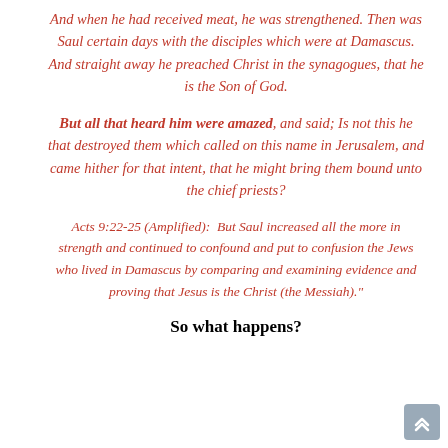And when he had received meat, he was strengthened. Then was Saul certain days with the disciples which were at Damascus. And straight away he preached Christ in the synagogues, that he is the Son of God.
But all that heard him were amazed, and said; Is not this he that destroyed them which called on this name in Jerusalem, and came hither for that intent, that he might bring them bound unto the chief priests?
Acts 9:22-25 (Amplified): But Saul increased all the more in strength and continued to confound and put to confusion the Jews who lived in Damascus by comparing and examining evidence and proving that Jesus is the Christ (the Messiah)."
So what happens?